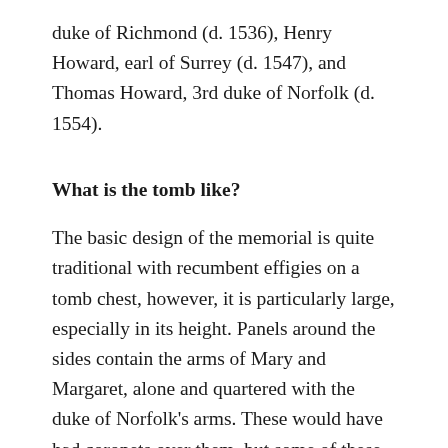duke of Richmond (d. 1536), Henry Howard, earl of Surrey (d. 1547), and Thomas Howard, 3rd duke of Norfolk (d. 1554).
What is the tomb like?
The basic design of the memorial is quite traditional with recumbent effigies on a tomb chest, however, it is particularly large, especially in its height. Panels around the sides contain the arms of Mary and Margaret, alone and quartered with the duke of Norfolk's arms. These would have had coronets over them, but some of these have been lost. Between the panels are Corinthian columns with winged busts on top of them. Both women are depicted